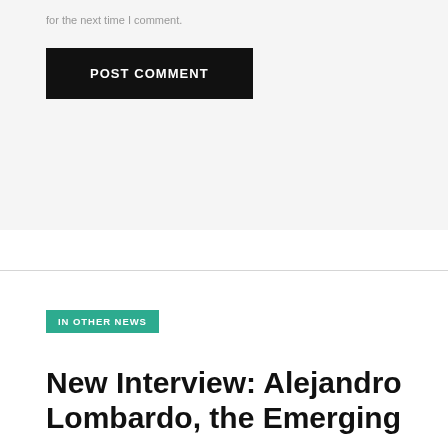for the next time I comment.
POST COMMENT
IN OTHER NEWS
New Interview: Alejandro Lombardo, the Emerging